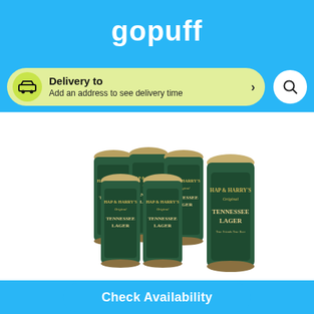gopuff
Delivery to
Add an address to see delivery time
[Figure (photo): Six-pack and single can of Hap & Harry's Original Tennessee Lager beer cans, dark green with gold label text]
Check Availability